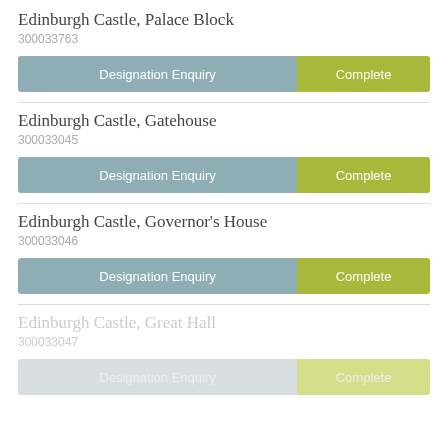Edinburgh Castle, Palace Block
300033763
[Figure (infographic): Status bar showing Designation Enquiry (blue-grey) and Complete (yellow-green) for Edinburgh Castle, Palace Block]
Edinburgh Castle, Gatehouse
300033045
[Figure (infographic): Status bar showing Designation Enquiry (blue-grey) and Complete (yellow-green) for Edinburgh Castle, Gatehouse]
Edinburgh Castle, Governor's House
300033046
[Figure (infographic): Status bar showing Designation Enquiry (blue-grey) and Complete (yellow-green) for Edinburgh Castle, Governor's House]
Edinburgh Castle, Great Hall
300033047
[Figure (infographic): Status bar showing Designation Enquiry (faded grey) and Complete (faded yellow-green) for Edinburgh Castle, Great Hall — appears greyed out/inactive]